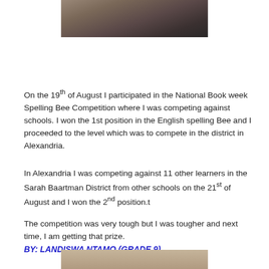[Figure (photo): Top portion of a photo showing a person, partially visible, cropped at top of page]
On the 19th of August I participated in the National Book week Spelling Bee Competition where I was competing against schools. I won the 1st position in the English spelling Bee and I proceeded to the level which was to compete in the district in Alexandria.
In Alexandria I was competing against 11 other learners in the Sarah Baartman District from other schools on the 21st of August and I won the 2nd position.t
The competition was very tough but I was tougher and next time, I am getting that prize.
BY: LANDISWA NTAMO (GRADE 9)
[Figure (photo): Bottom portion of a photo showing a person, partially visible, cropped at bottom of page]